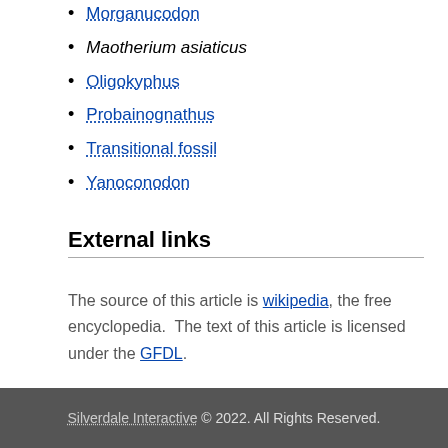Morganucodon
Maotherium asiaticus
Oligokyphus
Probainognathus
Transitional fossil
Yanoconodon
External links
The source of this article is wikipedia, the free encyclopedia.  The text of this article is licensed under the GFDL.
Silverdale Interactive © 2022. All Rights Reserved.